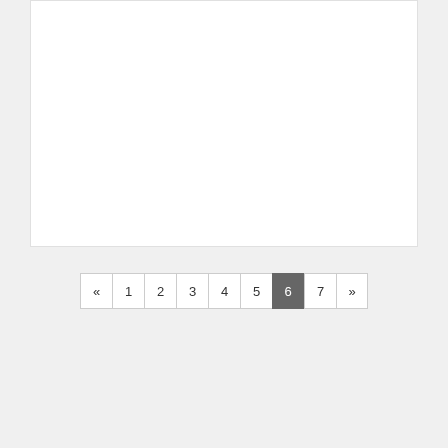« 1 2 3 4 5 6 7 »
Terry Rooming House
Address: 2305 Terry Street
Houston, TX 77009